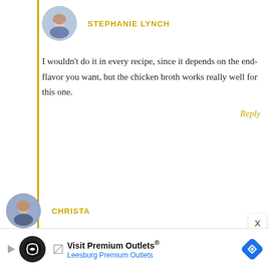STEPHANIE LYNCH
I wouldn't do it in every recipe, since it depends on the end-flavor you want, but the chicken broth works really well for this one.
Reply
CHRISTA
This looks so good! Sundries tomatoes are something I love but for some reason rarely use at home. I can't wait to try this recipe and change that!
Rep...
Visit Premium Outlets® Leesburg Premium Outlets